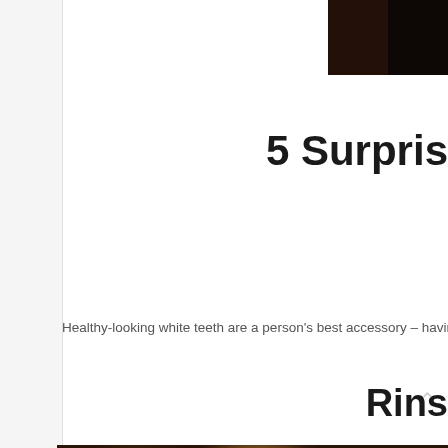[Figure (photo): Dark brown header image in top right corner]
5 Surpris
Healthy-looking white teeth are a person's best accessory – having great te
Rins
[Figure (photo): Blurred close-up photograph of brown and golden organic material, possibly spices or seeds, filling the lower portion of the page]